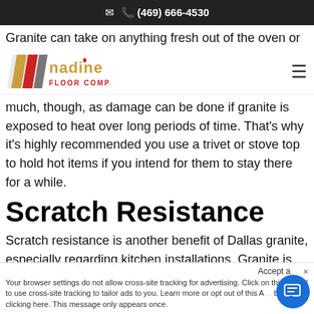✉  📞 (469) 666-4530
Granite can take on anything fresh out of the oven or
[Figure (logo): Nadine Floor Company logo with diagonal stripes in gold and red, company name in gold and red text]
much, though, as damage can be done if granite is exposed to heat over long periods of time. That's why it's highly recommended you use a trivet or stove top to hold hot items if you intend for them to stay there for a while.
Scratch Resistance
Scratch resistance is another benefit of Dallas granite, especially regarding kitchen installations. Granite is
nearly impossible to scratch. It would take
Your browser settings do not allow cross-site tracking for advertising. Click on this AdRoll to use cross-site tracking to tailor ads to you. Learn more or opt out of this AdRoll by clicking here. This message only appears once.